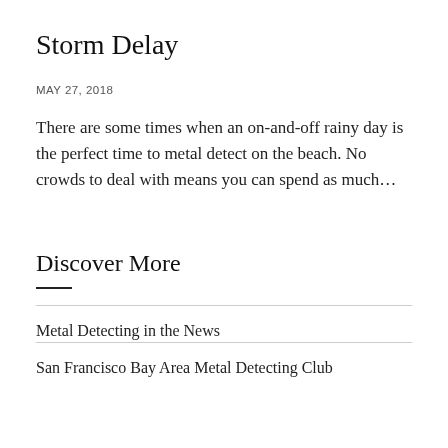Storm Delay
MAY 27, 2018
There are some times when an on-and-off rainy day is the perfect time to metal detect on the beach. No crowds to deal with means you can spend as much…
Discover More
Metal Detecting in the News
San Francisco Bay Area Metal Detecting Club